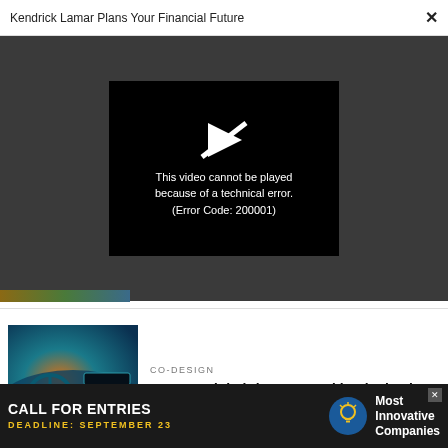Kendrick Lamar Plans Your Financial Future
[Figure (screenshot): Video player showing error: This video cannot be played because of a technical error. (Error Code: 200001)]
[Figure (photo): Car dashboard interior with colorful teal/orange toned knobs and buttons]
CO-DESIGN
Cars need their buttons and knobs back
[Figure (infographic): Advertisement banner: CALL FOR ENTRIES, DEADLINE: SEPTEMBER 23, Most Innovative Companies]